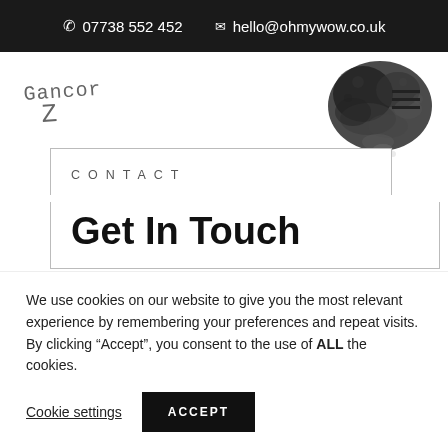07738 552 452  hello@ohmywow.co.uk
[Figure (logo): GancorZ handwritten logo in grey monospace style]
[Figure (illustration): Black ink splash watercolor splatter in top right area]
CONTACT
Get In Touch
We use cookies on our website to give you the most relevant experience by remembering your preferences and repeat visits. By clicking “Accept”, you consent to the use of ALL the cookies.
Cookie settings  ACCEPT